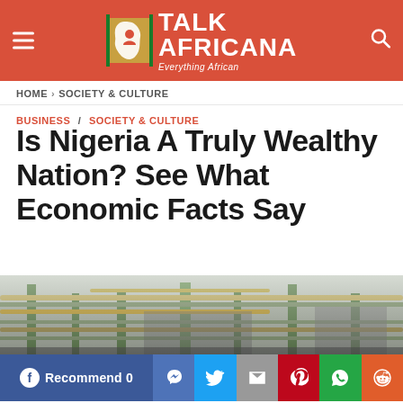TALK AFRICANA — Everything African
HOME > SOCIETY & CULTURE
BUSINESS / SOCIETY & CULTURE
Is Nigeria A Truly Wealthy Nation? See What Economic Facts Say
[Figure (photo): Industrial pipes and scaffolding structure, likely an oil refinery or industrial plant in Nigeria]
Recommend 0 / Share social buttons: Facebook, Twitter, Gmail, Pinterest, WhatsApp, Reddit